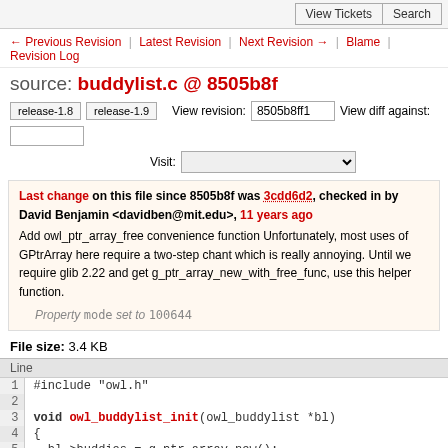View Tickets | Search
← Previous Revision | Latest Revision | Next Revision → | Blame | Revision Log
source: buddylist.c @ 8505b8f
release-1.8  release-1.9   View revision: 8505b8ff1   View diff against:   Visit:
Last change on this file since 8505b8f was 3cdd6d2, checked in by David Benjamin <davidben@mit.edu>, 11 years ago
Add owl_ptr_array_free convenience function Unfortunately, most uses of GPtrArray here require a two-step chant which is really annoying. Until we require glib 2.22 and get g_ptr_array_new_with_free_func, use this helper function.
Property mode set to 100644
File size: 3.4 KB
[Figure (screenshot): Source code viewer showing buddylist.c lines 1-13 with line numbers and syntax highlighting]